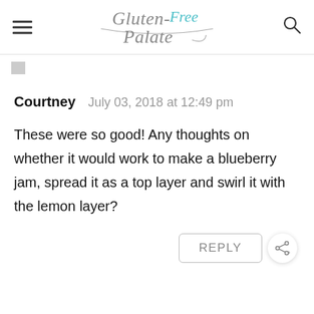Gluten-Free Palate
Courtney   July 03, 2018 at 12:49 pm
These were so good! Any thoughts on whether it would work to make a blueberry jam, spread it as a top layer and swirl it with the lemon layer?